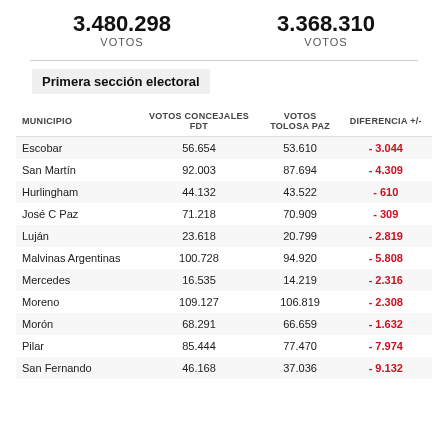3.480.298 VOTOS
3.368.310 VOTOS
Primera sección electoral
| MUNICIPIO | VOTOS CONCEJALES FDT | VOTOS TOLOSA PAZ | DIFERENCIA +/- |
| --- | --- | --- | --- |
| Escobar | 56.654 | 53.610 | - 3.044 |
| San Martín | 92.003 | 87.694 | - 4.309 |
| Hurlingham | 44.132 | 43.522 | - 610 |
| José C Paz | 71.218 | 70.909 | - 309 |
| Luján | 23.618 | 20.799 | - 2.819 |
| Malvinas Argentinas | 100.728 | 94.920 | - 5.808 |
| Mercedes | 16.535 | 14.219 | - 2.316 |
| Moreno | 109.127 | 106.819 | - 2.308 |
| Morón | 68.291 | 66.659 | - 1.632 |
| Pilar | 85.444 | 77.470 | - 7.974 |
| San Fernando | 46.168 | 37.036 | - 9.132 |